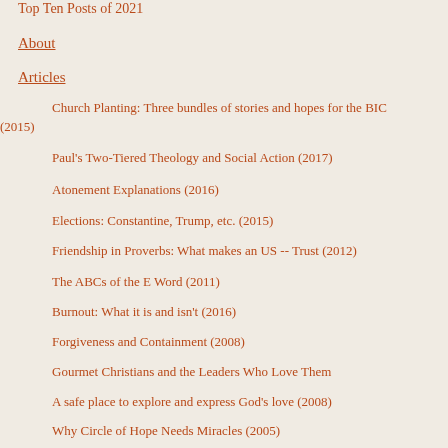Top Ten Posts of 2021
About
Articles
Church Planting: Three bundles of stories and hopes for the BIC (2015)
Paul's Two-Tiered Theology and Social Action (2017)
Atonement Explanations (2016)
Elections: Constantine, Trump, etc. (2015)
Friendship in Proverbs: What makes an US -- Trust (2012)
The ABCs of the E Word (2011)
Burnout: What it is and isn't (2016)
Forgiveness and Containment (2008)
Gourmet Christians and the Leaders Who Love Them
A safe place to explore and express God's love (2008)
Why Circle of Hope Needs Miracles (2005)
Being a Network of Congregations and Why That Got Going